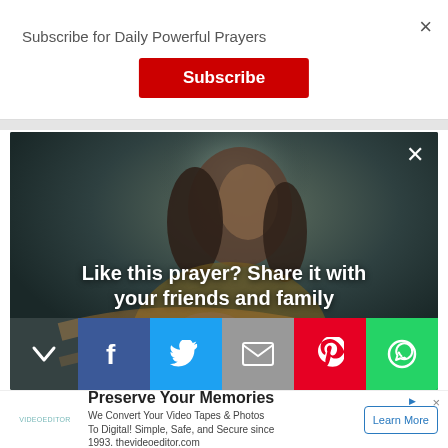Subscribe for Daily Powerful Prayers
Subscribe
[Figure (screenshot): Religious painting of Jesus-like figure looking upward with overlaid text and social share buttons]
Like this prayer? Share it with your friends and family
Preserve Your Memories
We Convert Your Video Tapes & Photos To Digital! Simple, Safe, and Secure since 1993. thevideoeditor.com
Learn More